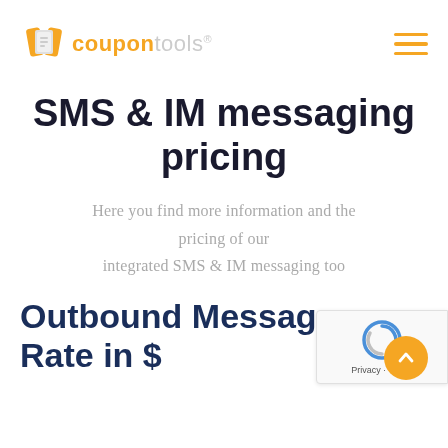coupontools® [logo] [hamburger menu]
SMS & IM messaging pricing
Here you find more information and the pricing of our integrated SMS & IM messaging too
Outbound Message Rate in $
[Figure (other): reCAPTCHA badge with logo, Privacy and Terms links]
[Figure (other): Orange circular scroll-to-top arrow button]